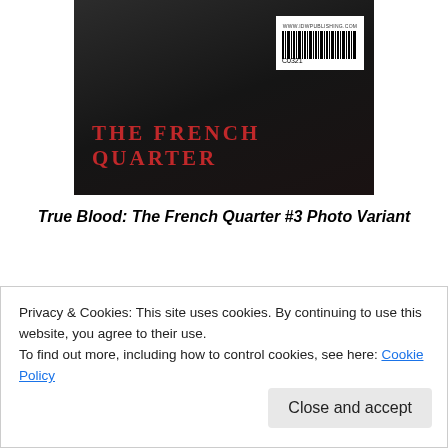[Figure (photo): Book cover of 'The French Quarter #3' showing dark figures and a red title text with barcode]
True Blood: The French Quarter #3 Photo Variant
SALE!
$7.89  $6.71
Add to cart
Privacy & Cookies: This site uses cookies. By continuing to use this website, you agree to their use.
To find out more, including how to control cookies, see here: Cookie Policy
Close and accept